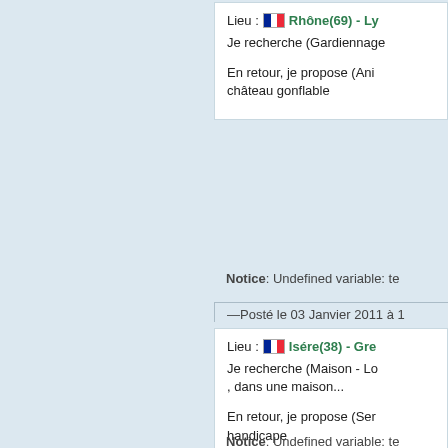Lieu : Rhône(69) - Ly...
Je recherche (Gardiennage...
En retour, je propose (Ani... château gonflable
Notice: Undefined variable: te...
Posté le 03 Janvier 2011 à 1...
Lieu : Isére(38) - Gre...
Je recherche (Maison - Lo... , dans une maison...
En retour, je propose (Ser... handicape menage aide conduite
Notice: Undefined variable: te...